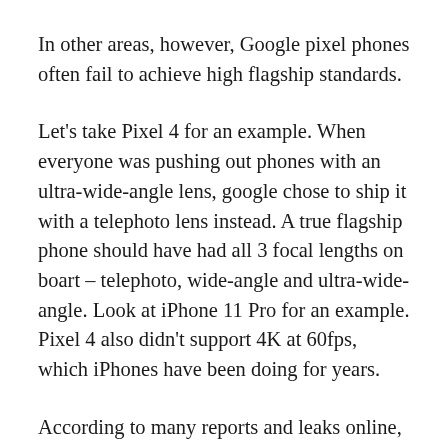In other areas, however, Google pixel phones often fail to achieve high flagship standards.
Let's take Pixel 4 for an example. When everyone was pushing out phones with an ultra-wide-angle lens, google chose to ship it with a telephoto lens instead. A true flagship phone should have had all 3 focal lengths on boart – telephoto, wide-angle and ultra-wide-angle. Look at iPhone 11 Pro for an example. Pixel 4 also didn't support 4K at 60fps, which iPhones have been doing for years.
According to many reports and leaks online, Google's 2020 flagship Pixel 5 would be a mid-